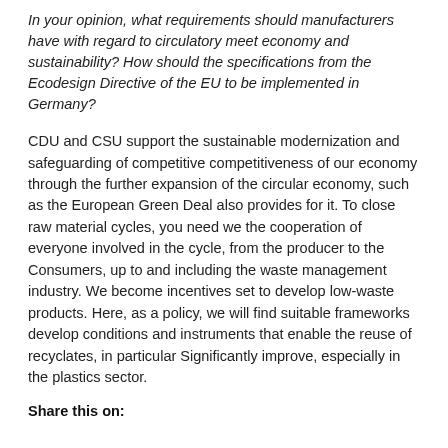In your opinion, what requirements should manufacturers have with regard to circulatory meet economy and sustainability? How should the specifications from the Ecodesign Directive of the EU to be implemented in Germany?
CDU and CSU support the sustainable modernization and safeguarding of competitive competitiveness of our economy through the further expansion of the circular economy, such as the European Green Deal also provides for it. To close raw material cycles, you need we the cooperation of everyone involved in the cycle, from the producer to the Consumers, up to and including the waste management industry. We become incentives set to develop low-waste products. Here, as a policy, we will find suitable frameworks develop conditions and instruments that enable the reuse of recyclates, in particular Significantly improve, especially in the plastics sector.
Share this on: